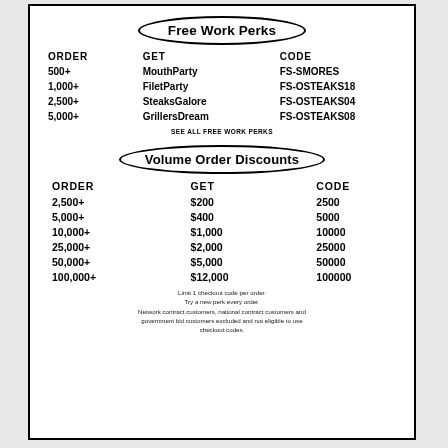Free Work Perks
| ORDER | GET | CODE |
| --- | --- | --- |
| 500+ | MouthParty | FS-SMORES |
| 1,000+ | FiletParty | FS-OSTEAKS18 |
| 2,500+ | SteaksGalore | FS-OSTEAKS04 |
| 5,000+ | GrillersDream | FS-OSTEAKS08 |
SEE ALL FREE WORK PERKS
Volume Order Discounts
| ORDER | GET | CODE |
| --- | --- | --- |
| 2,500+ | $200 | 2500 |
| 5,000+ | $400 | 5000 |
| 10,000+ | $1,000 | 10000 |
| 25,000+ | $2,000 | 25000 |
| 50,000+ | $5,000 | 50000 |
| 100,000+ | $12,000 | 100000 |
Limit 1 checkout code per order. Try a new perk every order. Network contract customers, national contract customers and government bid customers excluded and not eligible to use checkout codes.